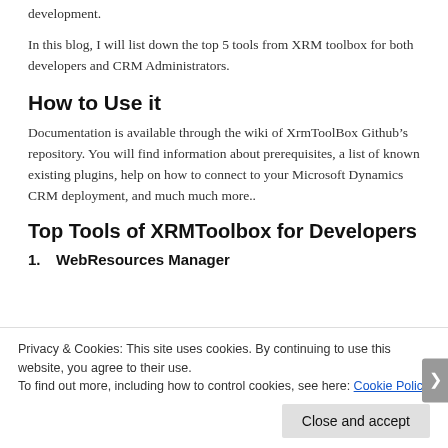development.
In this blog, I will list down the top 5 tools from XRM toolbox for both developers and CRM Administrators.
How to Use it
Documentation is available through the wiki of XrmToolBox Github’s repository. You will find information about prerequisites, a list of known existing plugins, help on how to connect to your Microsoft Dynamics CRM deployment, and much much more..
Top Tools of XRMToolbox for Developers
1.    WebResources Manager
Privacy & Cookies: This site uses cookies. By continuing to use this website, you agree to their use.
To find out more, including how to control cookies, see here: Cookie Policy
Close and accept